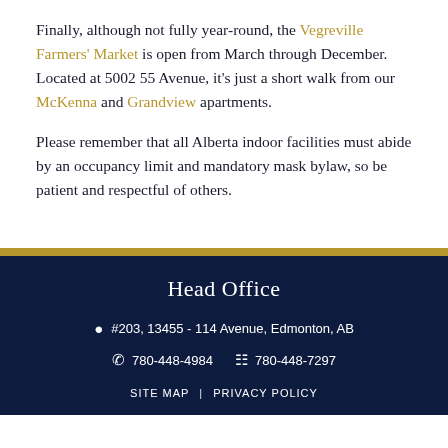Finally, although not fully year-round, the Vegreville Farmers' Market is open from March through December. Located at 5002 55 Avenue, it's just a short walk from our McKenna and Grandview apartments.
Please remember that all Alberta indoor facilities must abide by an occupancy limit and mandatory mask bylaw, so be patient and respectful of others.
Head Office
#203, 13455 - 114 Avenue, Edmonton, AB
780-448-4984  780-448-7297
SITE MAP | PRIVACY POLICY